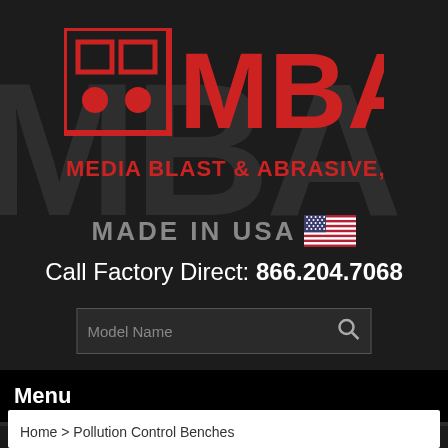[Figure (logo): MBA - Media Blast & Abrasive, Inc. logo with red square icon containing grid/dots pattern and red text letters MBA, subtitle MEDIA BLAST & ABRASIVE, INC.]
MADE IN USA 🇺🇸
Call Factory Direct: 866.204.7068
[Figure (screenshot): Search box with placeholder text 'Model Name' and magnifying glass search icon]
Menu
Home > Pollution Control Benches